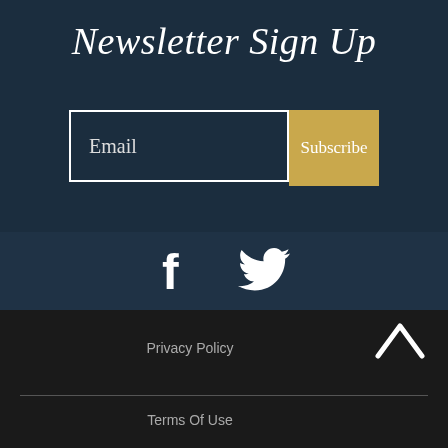Newsletter Sign Up
[Figure (other): Email input field with placeholder text 'Email' and a gold 'Subscribe' button]
[Figure (other): Social media icons: Facebook (f) and Twitter (bird icon)]
Privacy Policy
Terms Of Use